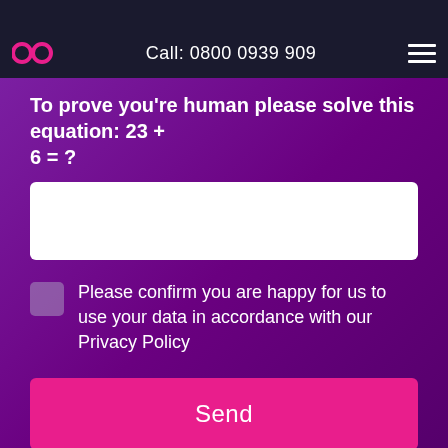Call: 0800 0939 909
To prove you're human please solve this equation: 23 + 6 = ?
Please confirm you are happy for us to use your data in accordance with our Privacy Policy
Send
This website uses cookies to improve your experience. We'll assume you're ok with this, but you can opt-out if you wish.
Cookie settings
ACCEPT